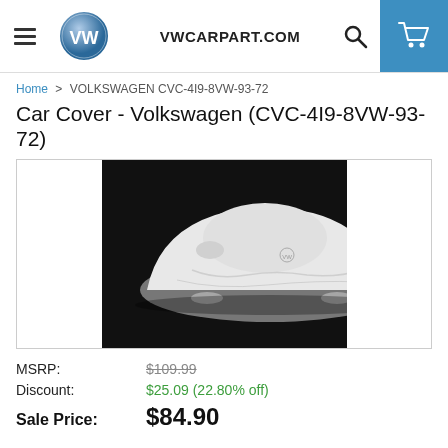VWCARPART.COM
Home > VOLKSWAGEN CVC-4I9-8VW-93-72
Car Cover - Volkswagen (CVC-4I9-8VW-93-72)
[Figure (photo): Volkswagen car covered with a white fitted car cover, photographed against a black background]
MSRP: $109.99
Discount: $25.09 (22.80% off)
Sale Price: $84.90